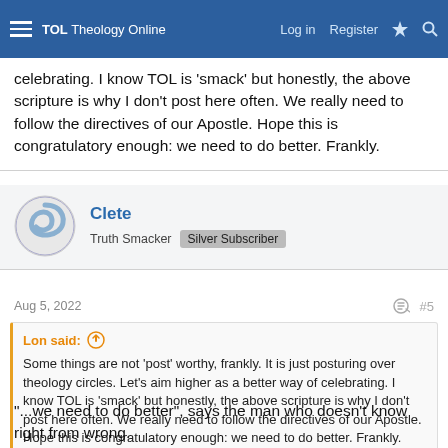TOL Theology Online — Log in | Register
celebrating. I know TOL is 'smack' but honestly, the above scripture is why I don't post here often. We really need to follow the directives of our Apostle. Hope this is congratulatory enough: we need to do better. Frankly.
Clete
Truth Smacker  Silver Subscriber
Aug 5, 2022
#5
Lon said:
Some things are not 'post' worthy, frankly. It is just posturing over theology circles. Let's aim higher as a better way of celebrating. I know TOL is 'smack' but honestly, the above scripture is why I don't post here often. We really need to follow the directives of our Apostle. Hope this is congratulatory enough: we need to do better. Frankly.
"...we need to do better", says the man who doesn't know right from wrong.